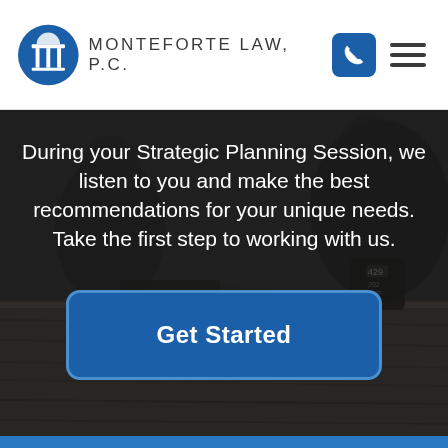[Figure (logo): Monteforte Law P.C. logo with circular pillar icon and firm name]
[Figure (photo): Gray-scale background photo of people at a desk in a law office consultation meeting]
During your Strategic Planning Session, we listen to you and make the best recommendations for your unique needs. Take the first step to working with us.
Get Started